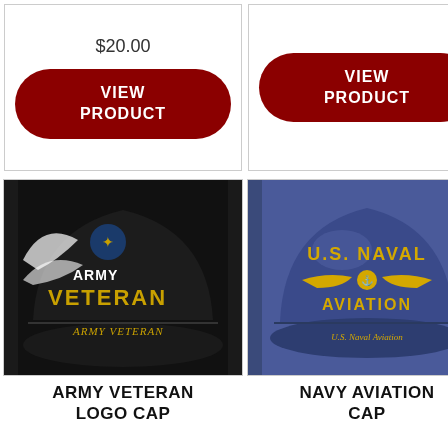$20.00
VIEW PRODUCT
VIEW PRODUCT
[Figure (photo): Black Army Veteran Logo Cap with embroidered eagle and 'ARMY VETERAN' text in gold letters]
ARMY VETERAN LOGO CAP
[Figure (photo): Navy blue U.S. Naval Aviation Cap with embroidered gold wings and 'U.S. NAVAL AVIATION' text]
NAVY AVIATION CAP